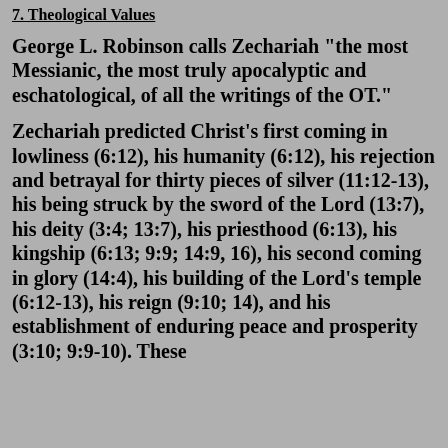7. Theological Values
George L. Robinson calls Zechariah "the most Messianic, the most truly apocalyptic and eschatological, of all the writings of the OT."
Zechariah predicted Christ's first coming in lowliness (6:12), his humanity (6:12), his rejection and betrayal for thirty pieces of silver (11:12-13), his being struck by the sword of the Lord (13:7), his deity (3:4; 13:7), his priesthood (6:13), his kingship (6:13; 9:9; 14:9, 16), his second coming in glory (14:4), his building of the Lord's temple (6:12-13), his reign (9:10; 14), and his establishment of enduring peace and prosperity (3:10; 9:9-10). These